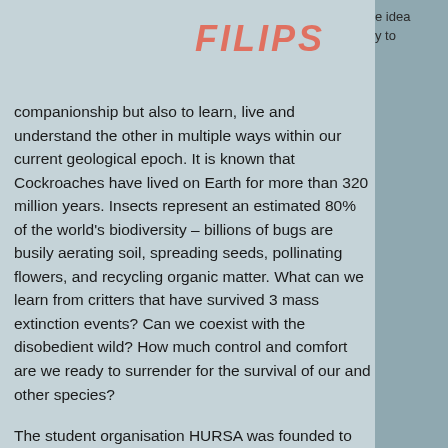FILIPS
e idea
y to
companionship but also to learn, live and understand the other in multiple ways within our current geological epoch. It is known that Cockroaches have lived on Earth for more than 320 million years. Insects represent an estimated 80% of the world's biodiversity – billions of bugs are busily aerating soil, spreading seeds, pollinating flowers, and recycling organic matter. What can we learn from critters that have survived 3 mass extinction events? Can we coexist with the disobedient wild? How much control and comfort are we ready to surrender for the survival of our and other species?
The student organisation HURSA was founded to conduct activist design research. The organization was advertised throughout the Aalto University campus by using posters for humans in English and posters for cockroaches in Cockroachian (written by cockroaches walking through ink onto paper). A Facebook event and Instagram account were also used to advertise the values of HURSA and a sign-up event took place where anyone could join the